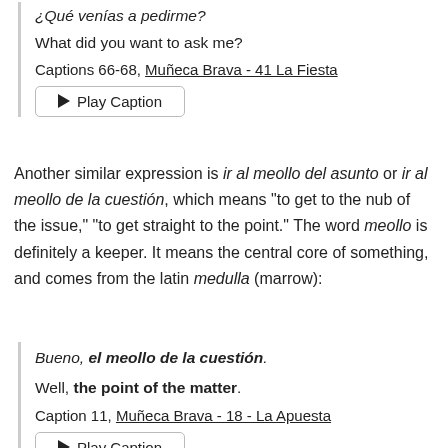¿Qué venías a pedirme?
What did you want to ask me?
Captions 66-68, Muñeca Brava - 41 La Fiesta
▶ Play Caption
Another similar expression is ir al meollo del asunto or ir al meollo de la cuestión, which means "to get to the nub of the issue," "to get straight to the point." The word meollo is definitely a keeper. It means the central core of something, and comes from the latin medulla (marrow):
Bueno, el meollo de la cuestión.
Well, the point of the matter.
Caption 11, Muñeca Brava - 18 - La Apuesta
▶ Play Caption